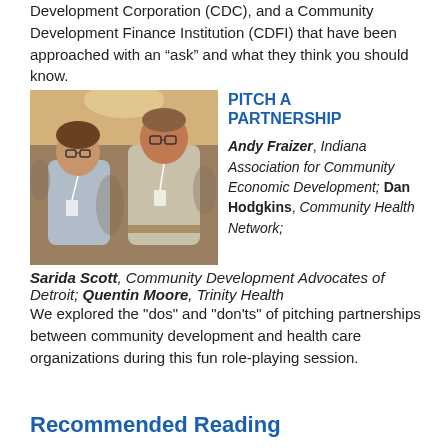Development Corporation (CDC), and a Community Development Finance Institution (CDFI) that have been approached with an “ask” and what they think you should know.
[Figure (photo): Two men in business casual attire talking and smiling at a conference event, with other attendees visible in the background.]
PITCH A PARTNERSHIP
Andy Fraizer, Indiana Association for Community Economic Development; Dan Hodgkins, Community Health Network; Sarida Scott, Community Development Advocates of Detroit; Quentin Moore, Trinity Health
We explored the "dos" and "don'ts" of pitching partnerships between community development and health care organizations during this fun role-playing session.
Recommended Reading